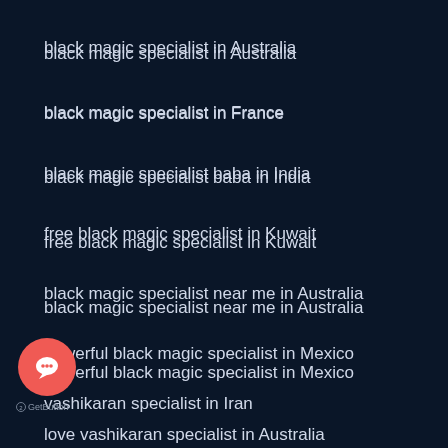black magic specialist in Australia
black magic specialist in France
black magic specialist baba in India
free black magic specialist in Kuwait
black magic specialist near me in Australia
powerful black magic specialist in Mexico
vashikaran specialist in Iran
love vashikaran specialist in Australia
[Figure (illustration): Red circular chat/message button icon with speech bubble symbol, and GetButton label below]
GetButton